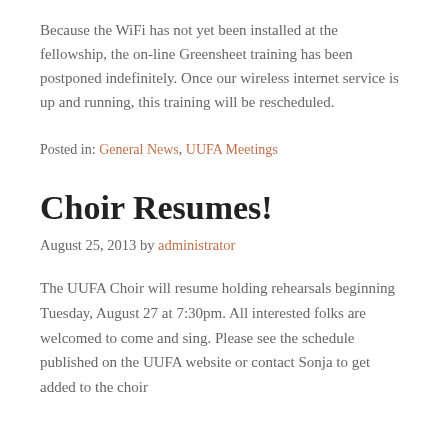Because the WiFi has not yet been installed at the fellowship, the on-line Greensheet training has been postponed indefinitely. Once our wireless internet service is up and running, this training will be rescheduled.
Posted in: General News, UUFA Meetings
Choir Resumes!
August 25, 2013 by administrator
The UUFA Choir will resume holding rehearsals beginning Tuesday, August 27 at 7:30pm. All interested folks are welcomed to come and sing. Please see the schedule published on the UUFA website or contact Sonja to get added to the choir